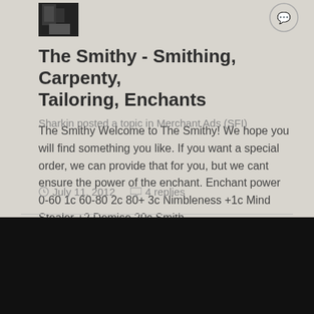[Figure (photo): Dark avatar/profile photo thumbnail in top left of post card]
The Smithy - Smithing, Carpenty, Tailoring, Enchants
Sharkin posted a topic in Merchant Ads (SFI)
The Smithy Welcome to The Smithy! We hope you will find something you like. If you want a special order, we can provide that for you, but we cant ensure the power of the enchant. Enchant power 0-60 1c 60-80 2c 80+ 3c Nimbleness +1c Mind Stealer +2 Demise 20c Smith...
July 11, 2012   4 replies
[Figure (logo): Facebook icon - dark blue circle with white f]
[Figure (logo): Twitter icon - cyan circle with white bird]
Theme   Privacy Policy   Contact Us   Powered by Invision Community